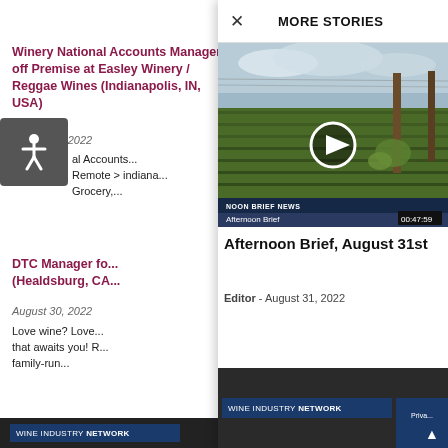Winery National Accounts Manager off Premise at Easley Winery / Reggae Wines (Indianapolis, IN, USA)
August 30, 2022
al Accounts... Remote > indiana... Grocery,...
DTC Manager fo... (Healdsburg, CA...
August 30, 2022
Love wine? Love... that awaits you! R... family-run...
MORE STORIES
[Figure (screenshot): Video thumbnail showing a vineyard with grapevines, rows of vines visible in the background. Play button circle overlay in center. Bottom bar reads 'NOON BRIEF NEWS / Afternoon Brief' and duration '00:47:59']
Afternoon Brief, August 31st
Editor - August 31, 2022